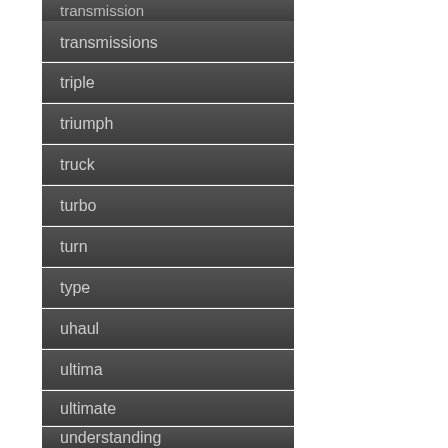transmission
transmissions
triple
triumph
truck
turbo
turn
type
uhaul
ultima
ultimate
understanding